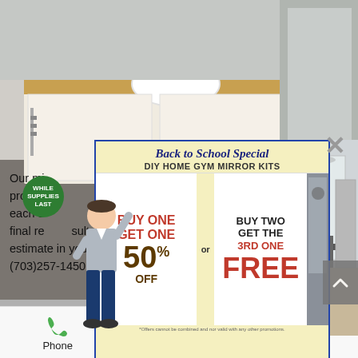[Figure (photo): Bathroom vanity with white bowl sink on wooden countertop, white cabinet below, gray floor visible]
[Figure (infographic): Back to School Special popup ad for DIY Home Gym Mirror Kits. Buy One Get One 50% Off or Buy Two Get the 3rd One Free. Offers cannot be combined and not valid with any other promotions. Image of home gym with mirrors on right side.]
Our mirrors are installed by our team of professional installers who take great care with each step of the project to ensure you love the final results. To schedule a free consultation and estimate in your home, call ABC Glass & Mirror at (703)257-1450.
[Figure (illustration): Cartoon person figure standing and pointing upward]
Phone   Email   Facebook